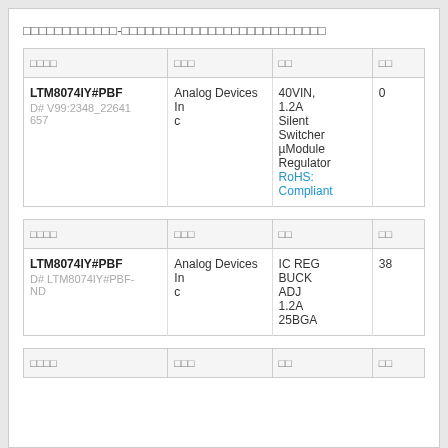□□□□□□□□□□□□-□□□□□□□□□□□□□□□□□□□□□□□□□□
| □□□□ | □□□ | □□ | □□ |
| --- | --- | --- | --- |
| LTM8074IY#PBF
D# V99:2348_22641657 | Analog Devices Inc | 40VIN, 1.2A Silent Switcher µModule Regulator
RoHS: Compliant | 0 |
| □□□□ | □□□ | □□ | □□ |
| --- | --- | --- | --- |
| LTM8074IY#PBF
D# LTM8074IY#PBF-ND | Analog Devices Inc | IC REG BUCK ADJ 1.2A 25BGA | 38 |
| □□□□ | □□□ | □□ | □□ |
| --- | --- | --- | --- |